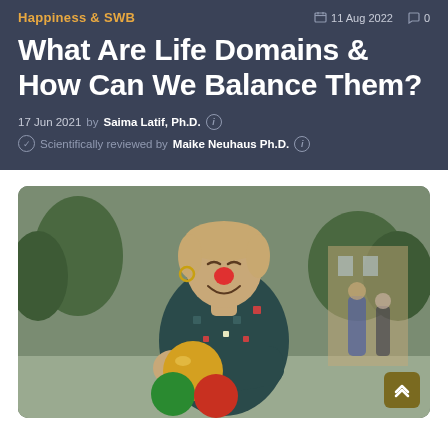Happiness & SWB
What Are Life Domains & How Can We Balance Them?
17 Jun 2021 by Saima Latif, Ph.D.
Scientifically reviewed by Maike Neuhaus Ph.D.
[Figure (photo): A woman dressed as a clown with a red nose, smiling, holding juggling balls (yellow, green, red) extended toward the camera. Outdoor setting with trees and buildings in the background.]